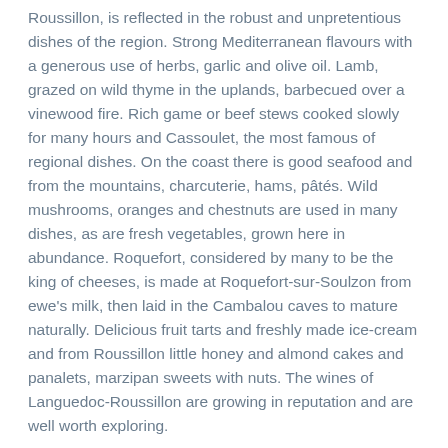Roussillon, is reflected in the robust and unpretentious dishes of the region. Strong Mediterranean flavours with a generous use of herbs, garlic and olive oil. Lamb, grazed on wild thyme in the uplands, barbecued over a vinewood fire. Rich game or beef stews cooked slowly for many hours and Cassoulet, the most famous of regional dishes. On the coast there is good seafood and from the mountains, charcuterie, hams, pâtés. Wild mushrooms, oranges and chestnuts are used in many dishes, as are fresh vegetables, grown here in abundance. Roquefort, considered by many to be the king of cheeses, is made at Roquefort-sur-Soulzon from ewe's milk, then laid in the Cambalou caves to mature naturally. Delicious fruit tarts and freshly made ice-cream and from Roussillon little honey and almond cakes and panalets, marzipan sweets with nuts. The wines of Languedoc-Roussillon are growing in reputation and are well worth exploring.
ACTIVITIES
Good beaches and resorts along the coast, offering a variety of water sports. Many golf courses throughout the region from 9 to 18 holes, some of competition standard, accessible to all levels and inexpensive. Numerous health spas that offer treatments for a variety of ailments and other more exotic treatments and activities.